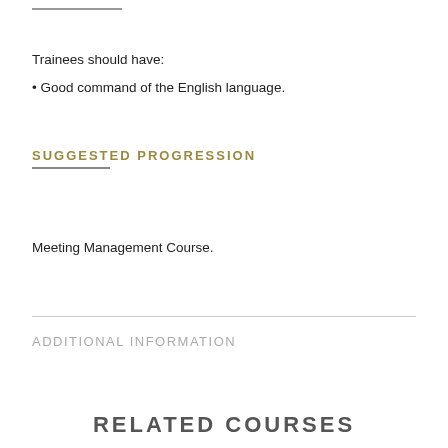Trainees should have:
• Good command of the English language.
SUGGESTED PROGRESSION
Meeting Management Course.
ADDITIONAL INFORMATION
RELATED COURSES